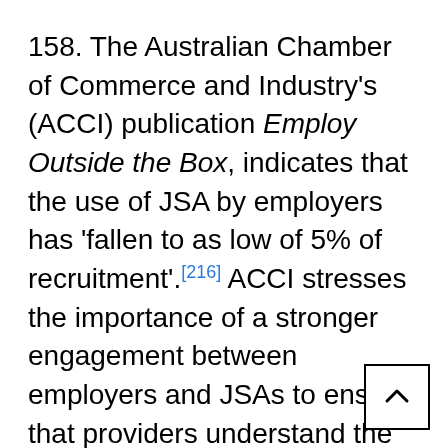158. The Australian Chamber of Commerce and Industry's (ACCI) publication Employ Outside the Box, indicates that the use of JSA by employers has 'fallen to as low of 5% of recruitment'.[216] ACCI stresses the importance of a stronger engagement between employers and JSAs to ensure that providers understand the needs of employers, job seekers have the necessary skills for work, and employers develop an appreciat of the JSA's offerings to employers.